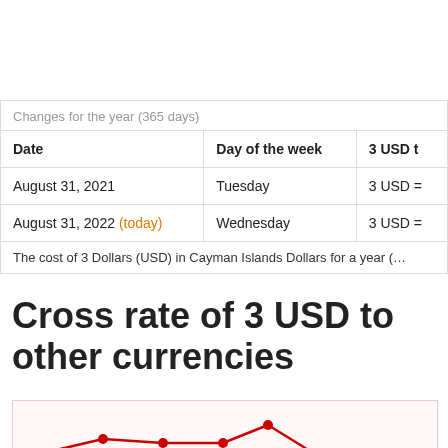| Date | Day of the week | 3 USD t |
| --- | --- | --- |
| August 31, 2021 | Tuesday | 3 USD = |
| August 31, 2022 (today) | Wednesday | 3 USD = |
Cross rate of 3 USD to other currencies
[Figure (line-chart): Line chart showing cross rate of 3 USD to other currencies over time, with a red line and data points. The line starts at a mid level, rises to a peak in the middle, then drops lower toward the right.]